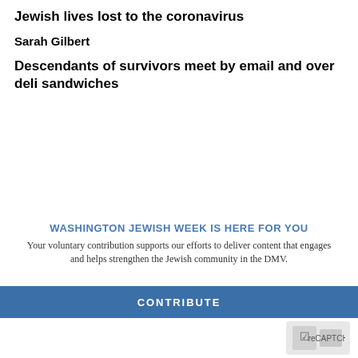Jewish lives lost to the coronavirus
Sarah Gilbert
Descendants of survivors meet by email and over deli sandwiches
WASHINGTON JEWISH WEEK IS HERE FOR YOU
Your voluntary contribution supports our efforts to deliver content that engages and helps strengthen the Jewish community in the DMV.
CONTRIBUTE